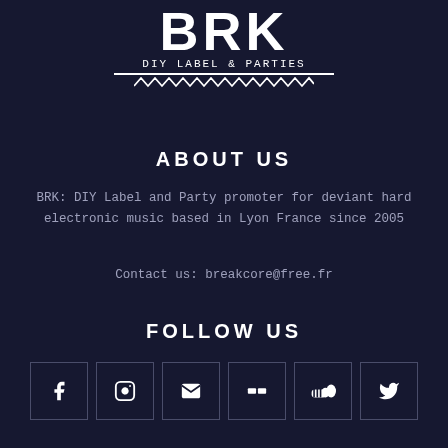[Figure (logo): BRK logo with text 'DIY LABEL & PARTIES' and zigzag decoration]
ABOUT US
BRK: DIY Label and Party promoter for deviant hard electronic music based in Lyon France since 2005
Contact us: breakcore@free.fr
FOLLOW US
[Figure (infographic): Row of 6 social media icon boxes: Facebook, Instagram, Email, Bandcamp, SoundCloud, Twitter]